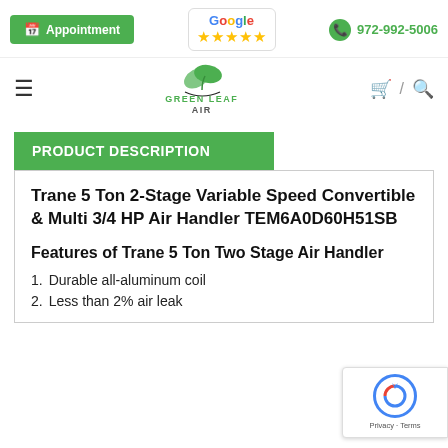[Figure (logo): Green Leaf Air website header with Appointment button, Google 5-star rating badge, phone number 972-992-5006, hamburger menu, logo, cart and search icons]
PRODUCT DESCRIPTION
Trane 5 Ton 2-Stage Variable Speed Convertible & Multi 3/4 HP Air Handler TEM6A0D60H51SB
Features of Trane 5 Ton Two Stage Air Handler
Durable all-aluminum coil
Less than 2% air leak